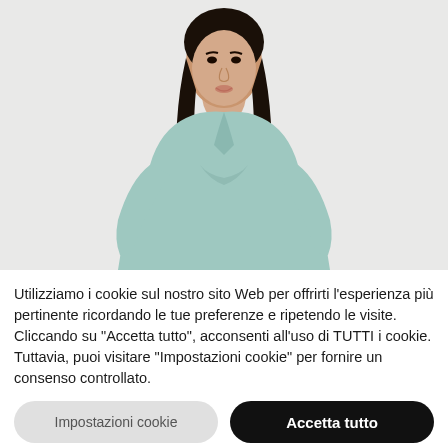[Figure (photo): A young woman with long dark hair wearing a light mint/aqua V-neck knit sweater, photographed against a light grey background, cropped at the waist.]
Utilizziamo i cookie sul nostro sito Web per offrirti l'esperienza più pertinente ricordando le tue preferenze e ripetendo le visite. Cliccando su "Accetta tutto", acconsenti all'uso di TUTTI i cookie. Tuttavia, puoi visitare "Impostazioni cookie" per fornire un consenso controllato.